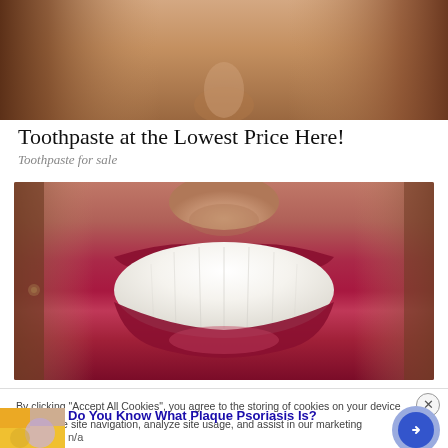[Figure (photo): Close-up photo of a woman's face showing nose and chin area, warm skin tones, top portion of face]
Toothpaste at the Lowest Price Here!
Toothpaste for sale
[Figure (photo): Close-up photo of a woman smiling with red lipstick and bright white teeth, lower face centered on mouth]
By clicking “Accept All Cookies”, you agree to the storing of cookies on your device to enhance site navigation, analyze site usage, and assist in our marketing
[Figure (photo): Small thumbnail image with colorful abstract pattern, yellow and purple tones]
Do You Know What Plaque Psoriasis Is?
n/a